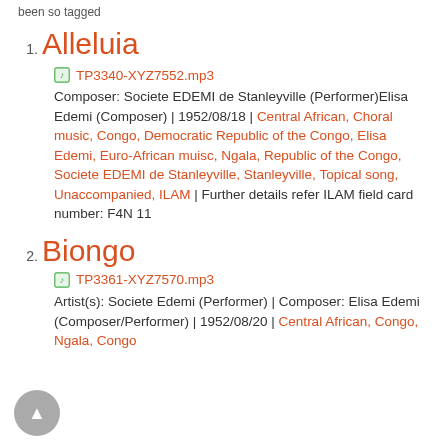been so tagged
Alleluia
TP3340-XYZ7552.mp3
Composer: Societe EDEMI de Stanleyville (Performer)Elisa Edemi (Composer) | 1952/08/18 | Central African, Choral music, Congo, Democratic Republic of the Congo, Elisa Edemi, Euro-African muisc, Ngala, Republic of the Congo, Societe EDEMI de Stanleyville, Stanleyville, Topical song, Unaccompanied, ILAM | Further details refer ILAM field card number: F4N 11
Biongo
TP3361-XYZ7570.mp3
Artist(s): Societe Edemi (Performer) | Composer: Elisa Edemi (Composer/Performer) | 1952/08/20 | Central African, Congo, Ngala, Congo